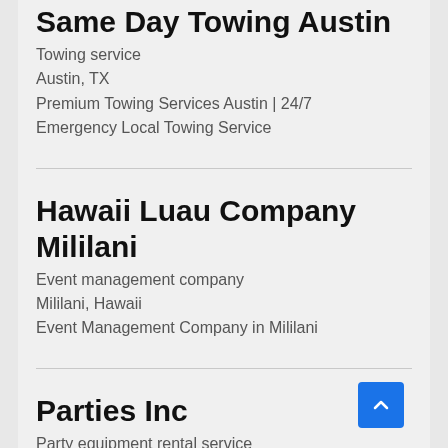Same Day Towing Austin
Towing service
Austin, TX
Premium Towing Services Austin | 24/7 Emergency Local Towing Service
Hawaii Luau Company Mililani
Event management company
Mililani, Hawaii
Event Management Company in Mililani
Parties Inc
Party equipment rental service
Vancouver, WA